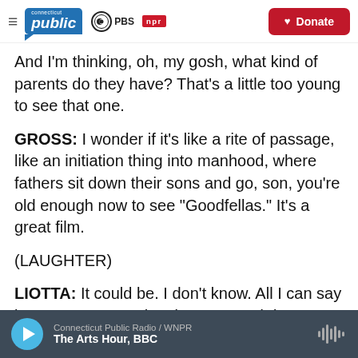Connecticut Public | PBS | NPR | Donate
And I'm thinking, oh, my gosh, what kind of parents do they have? That's a little too young to see that one.
GROSS: I wonder if it's like a rite of passage, like an initiation thing into manhood, where fathers sit down their sons and go, son, you're old enough now to see "Goodfellas." It's a great film.
(LAUGHTER)
LIOTTA: It could be. I don't know. All I can say is I've - my career has been up and down
Connecticut Public Radio / WNPR | The Arts Hour, BBC